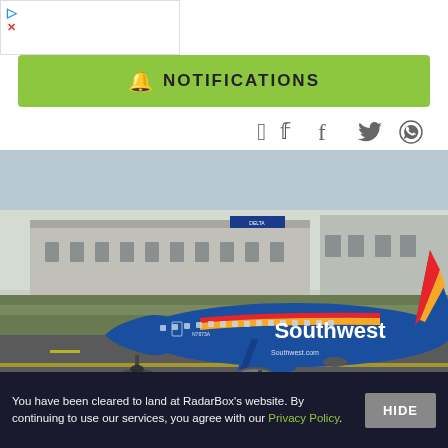[Figure (other): Small ad banner strip top-left with arrow and X icons]
NOTIFICATIONS
[Figure (photo): Southwest Airlines Boeing 737 in blue/red/yellow livery taxiing on airport runway. Terminal/hangar building visible in background. Copyright AirTeamImages.com watermark.]
© AirTeamImages.com
FLIGHT INFO
You have been cleared to land at RadarBox's website. By continuing to use our services, you agree with our Privacy Policy.